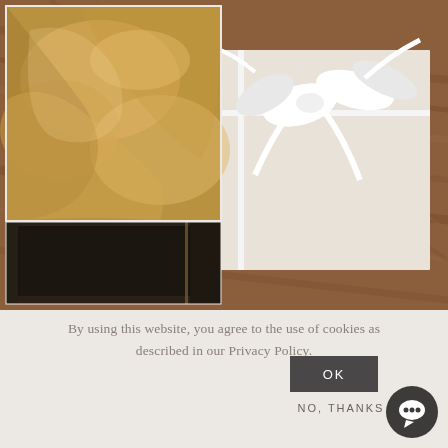[Figure (photo): Collage of three images: top-left shows golden satin silk fabric folds, right side shows a white ribbon bow tied on a white/cream box resting on a walnut wood surface, bottom-left shows a black leather-bound book or album spine close-up.]
By using this website, you agree to the use of cookies as described in our Privacy Policy.
OK
NO, THANKS →
[Figure (other): Dark circular chat/messenger icon button]